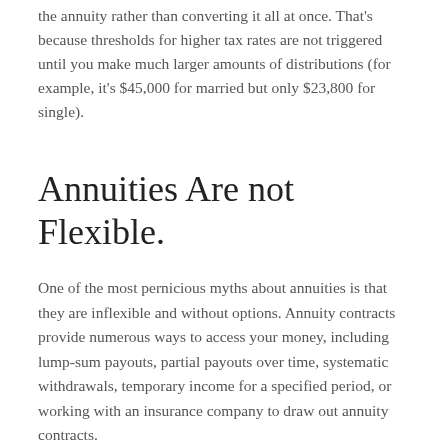the annuity rather than converting it all at once. That's because thresholds for higher tax rates are not triggered until you make much larger amounts of distributions (for example, it's $45,000 for married but only $23,800 for single).
Annuities Are not Flexible.
One of the most pernicious myths about annuities is that they are inflexible and without options. Annuity contracts provide numerous ways to access your money, including lump-sum payouts, partial payouts over time, systematic withdrawals, temporary income for a specified period, or working with an insurance company to draw out annuity contracts.